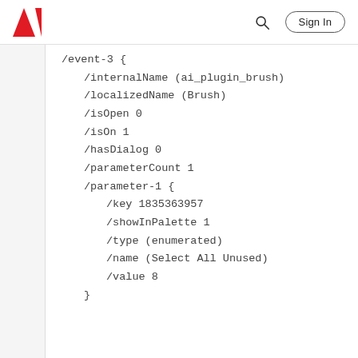Adobe (Sign In)
/event-3 {
    /internalName (ai_plugin_brush)
    /localizedName (Brush)
    /isOpen 0
    /isOn 1
    /hasDialog 0
    /parameterCount 1
    /parameter-1 {
        /key 1835363957
        /showInPalette 1
        /type (enumerated)
        /name (Select All Unused)
        /value 8
    }
}